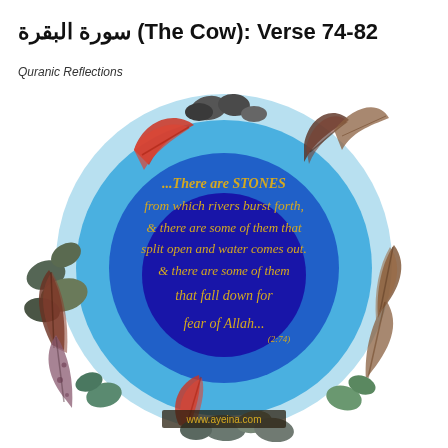سورة البقرة (The Cow): Verse 74-82
Quranic Reflections
[Figure (illustration): Circular decorative illustration with stones, feathers, and a blue textured background containing gold italic script text: '...There are STONES from which rivers burst forth, & there are some of them that split open and water comes out. & there are some of them that fall down for fear of Allah... (2:74)' with www.ayeina.com watermark at the bottom.]